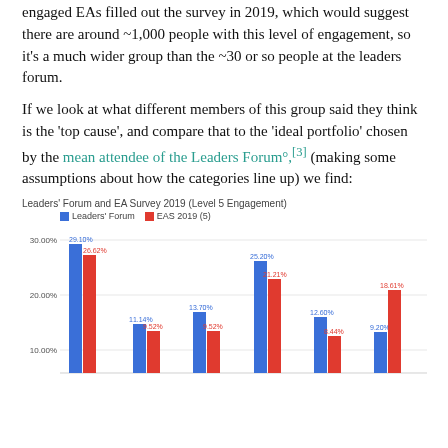engaged EAs filled out the survey in 2019, which would suggest there are around ~1,000 people with this level of engagement, so it's a much wider group than the ~30 or so people at the leaders forum.
If we look at what different members of this group said they think is the 'top cause', and compare that to the 'ideal portfolio' chosen by the mean attendee of the Leaders Forum°,[3] (making some assumptions about how the categories line up) we find:
[Figure (grouped-bar-chart): Leaders' Forum and EA Survey 2019 (Level 5 Engagement)]